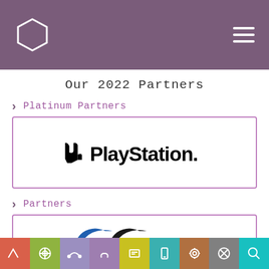Our 2022 Partners
Platinum Partners
[Figure (logo): PlayStation logo with controller icon and text 'PlayStation.']
Partners
[Figure (logo): GG gaming logo in blue and black]
Navigation bar with icons